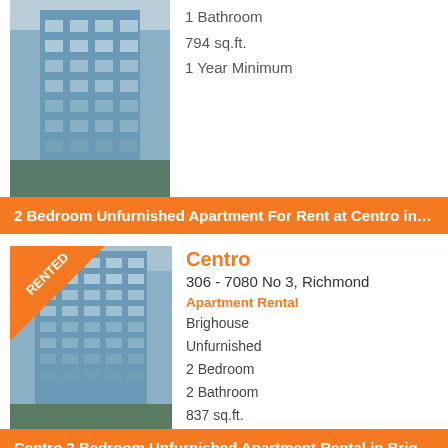[Figure (photo): Partial view of a modern glass apartment building (top portion cut off), no rented badge visible]
1 Bathroom
794 sq.ft.
1 Year Minimum
2 Bedroom Unfurnished Apartment For Rent at Centro in Brig...
[Figure (photo): Modern glass high-rise apartment building with RENTED diagonal banner in top-left corner]
Centro
306 - 7080 No 3, Richmond
Apartment Rental
Brighouse
Unfurnished
2 Bedroom
2 Bathroom
837 sq.ft.
1 Year Minimum
Centro 2 Bedroom Unfurnished Apartment Rental in Brighous...